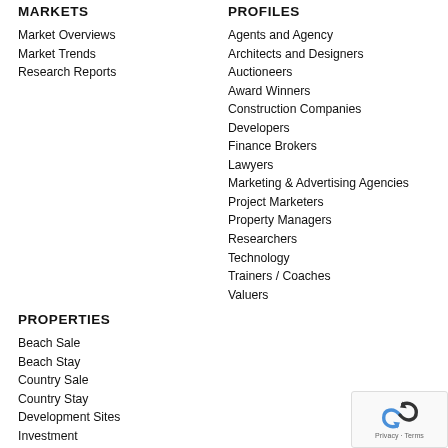MARKETS
Market Overviews
Market Trends
Research Reports
PROFILES
Agents and Agency
Architects and Designers
Auctioneers
Award Winners
Construction Companies
Developers
Finance Brokers
Lawyers
Marketing & Advertising Agencies
Project Marketers
Property Managers
Researchers
Technology
Trainers / Coaches
Valuers
PROPERTIES
Beach Sale
Beach Stay
Country Sale
Country Stay
Development Sites
Investment
Land